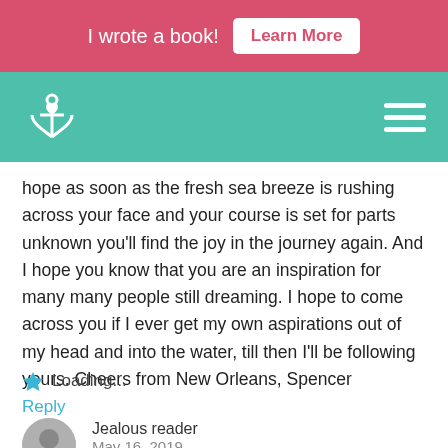I wrote a book! Learn More
[Figure (logo): Navigation bar with anchor/heart logo on teal background and hamburger menu]
hope as soon as the fresh sea breeze is rushing across your face and your course is set for parts unknown you'll find the joy in the journey again. And I hope you know that you are an inspiration for many many people still dreaming. I hope to come across you if I ever get my own aspirations out of my head and into the water, till then I'll be following yours. Cheers from New Orleans, Spencer
Loading...
Reply
Jealous reader
May 16, 2019